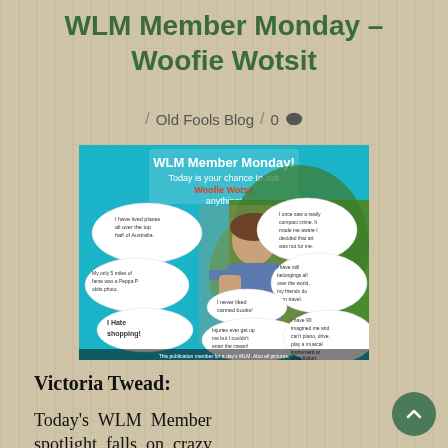WLM Member Monday – Woofie Wotsit
Old Fools Blog   0 💬
[Figure (photo): WLM Member Monday promotional image featuring a woman holding a shopping list, surrounded by speech bubbles with various fun facts and quotes about Woofie Wotsit, on a teal background.]
Victoria Twead:
Today's WLM Member spotlight falls on crazy member, Woofie Wotsit